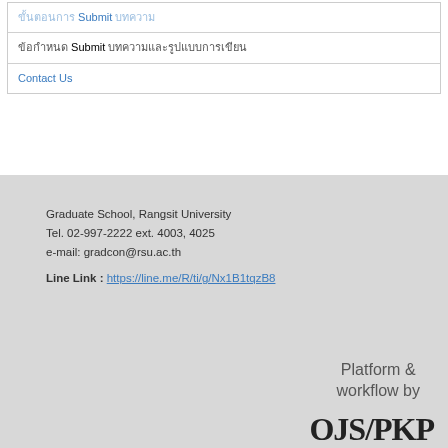| ขั้นตอนการ Submit บทความ |
| ข้อกำหนด Submit บทความและรูปแบบการเขียน |
| Contact Us |
Graduate School, Rangsit University
Tel. 02-997-2222 ext. 4003, 4025
e-mail: gradcon@rsu.ac.th
Line Link : https://line.me/R/ti/g/Nx1B1tqzB8
Platform &
workflow by
OJS/PKP